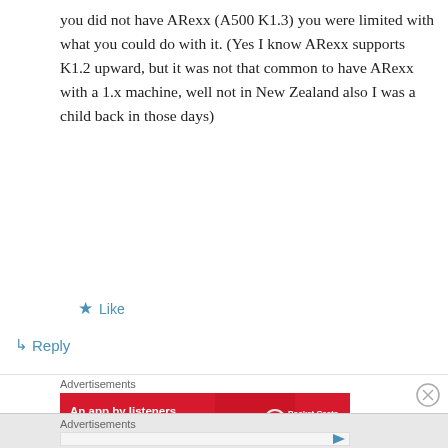you did not have ARexx (A500 K1.3) you were limited with what you could do with it. (Yes I know ARexx supports K1.2 upward, but it was not that common to have ARexx with a 1.x machine, well not in New Zealand also I was a child back in those days)
★ Like
↳ Reply
Advertisements
[Figure (other): Pocket Casts advertisement banner: red background with text 'An app by listeners, for listeners.' and Pocket Casts logo]
REPORT THIS AD
[Figure (other): Close/dismiss button (circle with X)]
Advertisements
[Figure (other): Empty advertisement area with play button icon in top right]